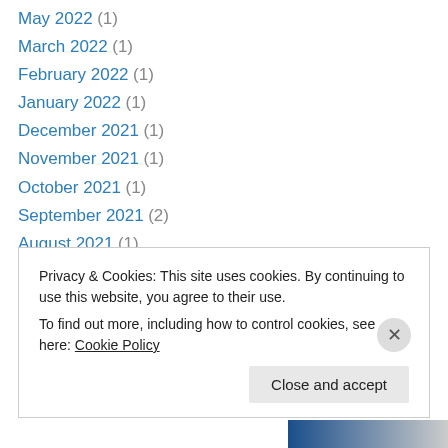May 2022 (1)
March 2022 (1)
February 2022 (1)
January 2022 (1)
December 2021 (1)
November 2021 (1)
October 2021 (1)
September 2021 (2)
August 2021 (1)
July 2021 (1)
June 2021 (1)
May 2021 (1)
April 2021 (1)
Privacy & Cookies: This site uses cookies. By continuing to use this website, you agree to their use. To find out more, including how to control cookies, see here: Cookie Policy